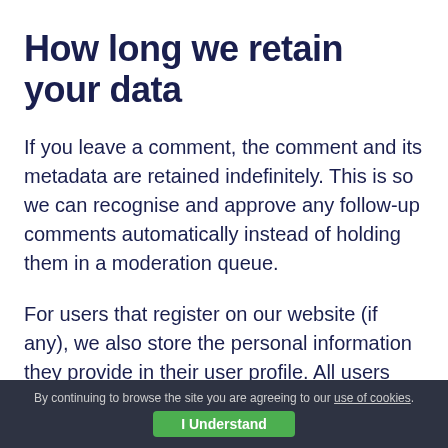How long we retain your data
If you leave a comment, the comment and its metadata are retained indefinitely. This is so we can recognise and approve any follow-up comments automatically instead of holding them in a moderation queue.
For users that register on our website (if any), we also store the personal information they provide in their user profile. All users can see, edit, or delete their personal information at any time
By continuing to browse the site you are agreeing to our use of cookies. I Understand